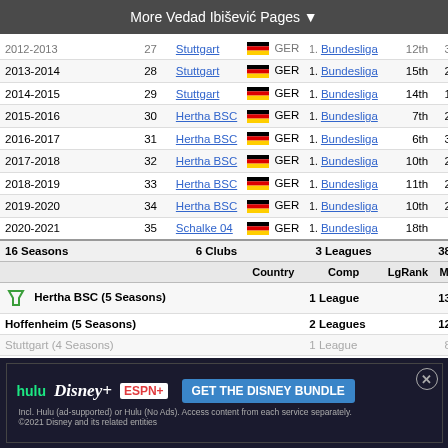More Vedad Ibišević Pages ▼
| Season | Age | Club | Country | Comp | LgRank | MP | Starts | M |
| --- | --- | --- | --- | --- | --- | --- | --- | --- |
| 2012-2013 | 27 | Stuttgart | GER | 1. Bundesliga | 12th | 30 | 30 | 2, |
| 2013-2014 | 28 | Stuttgart | GER | 1. Bundesliga | 15th | 27 | 25 | 2, |
| 2014-2015 | 29 | Stuttgart | GER | 1. Bundesliga | 14th | 14 | 6 | 0 |
| 2015-2016 | 30 | Hertha BSC | GER | 1. Bundesliga | 7th | 26 | 25 | 2,0 |
| 2016-2017 | 31 | Hertha BSC | GER | 1. Bundesliga | 6th | 32 | 32 | 2, |
| 2017-2018 | 32 | Hertha BSC | GER | 1. Bundesliga | 10th | 27 | 18 | 1,4 |
| 2018-2019 | 33 | Hertha BSC | GER | 1. Bundesliga | 11th | 28 | 24 | 1,8 |
| 2019-2020 | 34 | Hertha BSC | GER | 1. Bundesliga | 10th | 25 | 15 | 1, |
| 2020-2021 | 35 | Schalke 04 | GER | 1. Bundesliga | 18th | 4 | 1 |  |
| 16 Seasons |  | 6 Clubs |  | 3 Leagues |  | 380 | 295 | 25,0 |
|  |  |  | Country | Comp | LgRank | MP | Starts | M |
| Hertha BSC (5 Seasons) |  |  |  | 1 League |  | 138 | 114 |  |
| Hoffenheim (5 Seasons) |  |  |  | 2 Leagues |  | 123 | 88 |  |
| Stuttgart (4 Seasons) |  |  |  | 1 League |  | 86 | 76 | 6, |
| AA A... |  |  |  |  |  | 14 |  | 1, |
| Par... |  |  |  |  |  |  | 2 |  |
| Schalke 04 (1 Season) |  |  |  | 1 League |  | 4 | 1 |  |
[Figure (screenshot): Disney Bundle advertisement with Hulu, Disney+, ESPN+ logos and GET THE DISNEY BUNDLE CTA button]